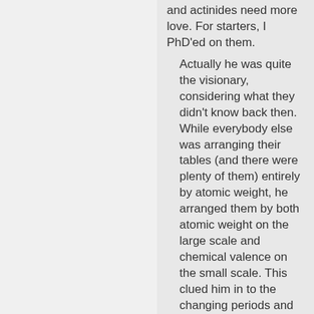and actinides need more love. For starters, I PhD'ed on them.
Actually he was quite the visionary, considering what they didn't know back then. While everybody else was arranging their tables (and there were plenty of them) entirely by atomic weight, he arranged them by both atomic weight on the large scale and chemical valence on the small scale. This clued him in to the changing periods and also enabled him to